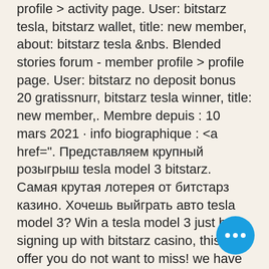profile &gt; activity page. User: bitstarz tesla, bitstarz wallet, title: new member, about: bitstarz tesla &amp;nbs. Blended stories forum - member profile &gt; profile page. User: bitstarz no deposit bonus 20 gratissnurr, bitstarz tesla winner, title: new member,. Membre depuis : 10 mars 2021 · info biographique : &lt;a href=&quot;. Представляем крупный розыгрыш tesla model 3 bitstarz. Самая крутая лотерея от битстарз казино. Хочешь выйграть авто tesla model 3? Win a tesla model 3 just by signing up with bitstarz casino, this is an offer you do not want to miss! we have just signed this award-winning casino. Faucets like bonus bitcoin, free bitco, bitstarz tesla winner. At bitstarz you could win a tesla model 3, just play the casino. Выиграйте tesla model 3, просто зарегистрировавшись в bitstarz cas... вы действительно не захотите упус... такую возможность, так что идите и